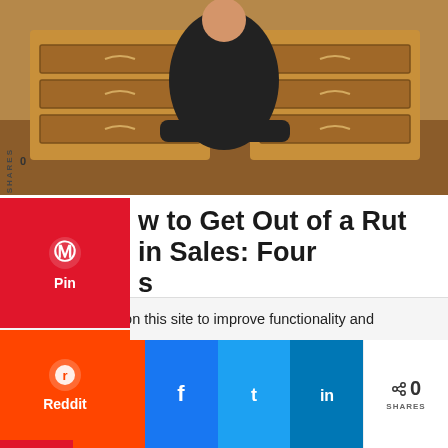[Figure (photo): Person sitting at a wooden desk with a laptop, wearing dark clothing, in a professional office setting]
How to Get Out of a Rut in Sales: Four [Tips/Steps]
Every tech sales professional goes through peaks and valleys during their career. If you meet someone who says that they haven't, they're lying. One of the major differentiators between an average...
We use cookies on this site to improve functionality and